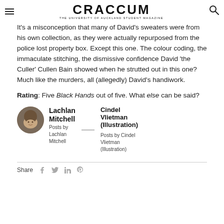CRACCUM — THE UNIVERSITY OF AUCKLAND STUDENT MAGAZINE
It's a misconception that many of David's sweaters were from his own collection, as they were actually repurposed from the police lost property box. Except this one. The colour coding, the immaculate stitching, the dismissive confidence David 'the Culler' Cullen Bain showed when he strutted out in this one? Much like the murders, all (allegedly) David's handiwork.
Rating: Five Black Hands out of five. What else can be said?
Lachlan Mitchell
Posts by Lachlan Mitchell
[Figure (photo): Circular avatar photo of Lachlan Mitchell]
Cindel Vlietman (Illustration)
Posts by Cindel Vlietman (Illustration)
Share